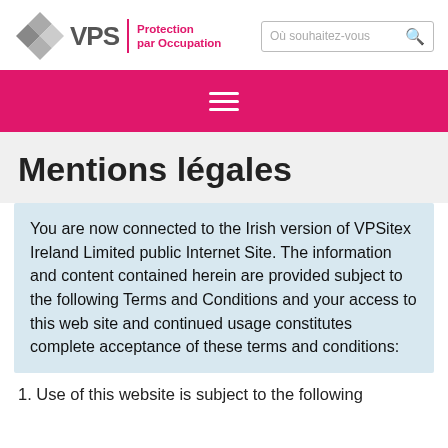[Figure (logo): VPS Protection par Occupation logo with geometric diamond shapes and pink text]
Mentions légales
You are now connected to the Irish version of VPSitex Ireland Limited public Internet Site. The information and content contained herein are provided subject to the following Terms and Conditions and your access to this web site and continued usage constitutes complete acceptance of these terms and conditions:
1. Use of this website is subject to the following